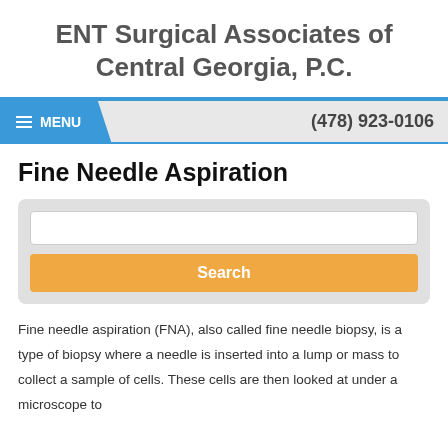ENT Surgical Associates of Central Georgia, P.C.
MENU   (478) 923-0106
Fine Needle Aspiration
Fine needle aspiration (FNA), also called fine needle biopsy, is a type of biopsy where a needle is inserted into a lump or mass to collect a sample of cells. These cells are then looked at under a microscope to